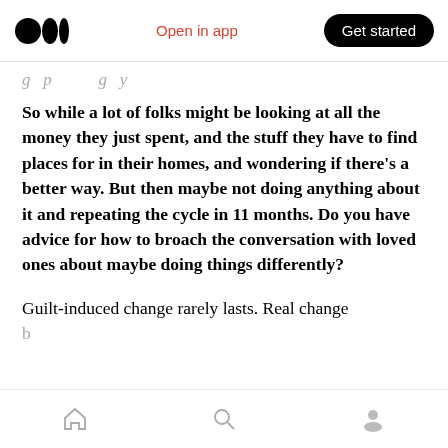Medium logo | Open in app | Get started
g p g y
So while a lot of folks might be looking at all the money they just spent, and the stuff they have to find places for in their homes, and wondering if there's a better way. But then maybe not doing anything about it and repeating the cycle in 11 months. Do you have advice for how to broach the conversation with loved ones about maybe doing things differently?
Guilt-induced change rarely lasts. Real change
Home | Search | Profile